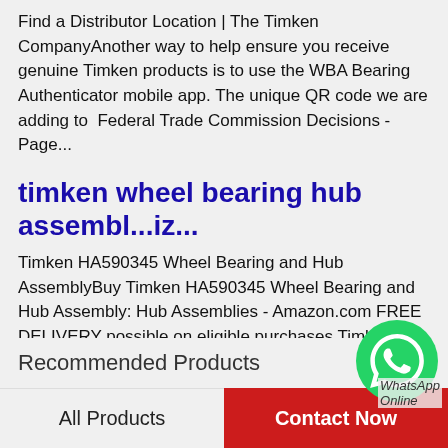Find a Distributor Location | The Timken CompanyAnother way to help ensure you receive genuine Timken products is to use the WBA Bearing Authenticator mobile app. The unique QR code we are adding to  Federal Trade Commission Decisions - Page...
timken wheel bearing hub assembl...iz...
Timken HA590345 Wheel Bearing and Hub AssemblyBuy Timken HA590345 Wheel Bearing and Hub Assembly: Hub Assemblies - Amazon.com FREE DELIVERY possible on eligible purchases Timken Wheel Bearing and Hub Assembly-SP940203 - TheThe Timken Company...
[Figure (illustration): WhatsApp Online floating button overlay with green circle icon and 'WhatsApp Online' label]
Recommended Products
All Products
Contact Now